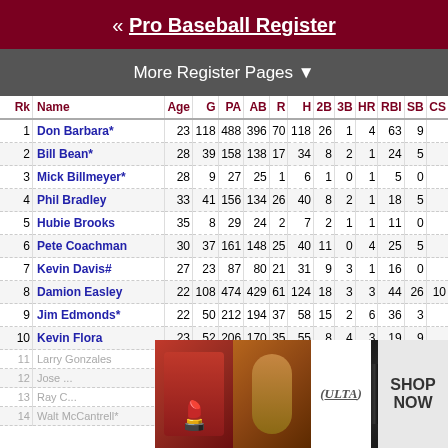« Pro Baseball Register
More Register Pages ▼
| Rk | Name | Age | G | PA | AB | R | H | 2B | 3B | HR | RBI | SB | CS |
| --- | --- | --- | --- | --- | --- | --- | --- | --- | --- | --- | --- | --- | --- |
| 1 | Don Barbara* | 23 | 118 | 488 | 396 | 70 | 118 | 26 | 1 | 4 | 63 | 9 |  |
| 2 | Bill Bean* | 28 | 39 | 158 | 138 | 17 | 34 | 8 | 2 | 1 | 24 | 5 |  |
| 3 | Mick Billmeyer* | 28 | 9 | 27 | 25 | 1 | 6 | 1 | 0 | 1 | 5 | 0 |  |
| 4 | Phil Bradley | 33 | 41 | 156 | 134 | 26 | 40 | 8 | 2 | 1 | 18 | 5 |  |
| 5 | Hubie Brooks | 35 | 8 | 29 | 24 | 2 | 7 | 2 | 1 | 1 | 11 | 0 |  |
| 6 | Pete Coachman | 30 | 37 | 161 | 148 | 25 | 40 | 11 | 0 | 4 | 25 | 5 |  |
| 7 | Kevin Davis# | 27 | 23 | 87 | 80 | 21 | 31 | 9 | 3 | 1 | 16 | 0 |  |
| 8 | Damion Easley | 22 | 108 | 474 | 429 | 61 | 124 | 18 | 3 | 3 | 44 | 26 | 10 |
| 9 | Jim Edmonds* | 22 | 50 | 212 | 194 | 37 | 58 | 15 | 2 | 6 | 36 | 3 |  |
| 10 | Kevin Flora | 23 | 52 | 206 | 170 | 35 | 55 | 8 | 4 | 3 | 19 | 9 |  |
| 11 | Larry Gonzales | 25 | 80 | 290 | 241 | 37 | 79 | 10 | 0 | 3 | 47 | 2 |  |
| 12 | Jose ... |  |  |  |  |  |  |  |  |  | 14 | 9 |  |
| 13 | Ray C... |  |  |  |  |  |  |  |  |  | 35 | 6 |  |
| 14 | Walt McCantrell* | 27 | 51 | 188 | 147 | 21 | 39 | 9 | 0 | 1 | 22 | 1 |  |
[Figure (photo): ULTA beauty advertisement banner]